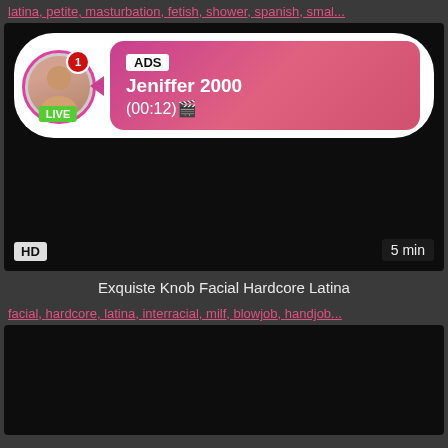latina, petite, masturbation, fetish, shower, spanish, smal...
[Figure (screenshot): Video thumbnail (black) with an ad overlay popup showing a profile photo of a woman with a LIVE badge, a notification bubble, and an ADS banner with username Jeniffer 2000 and timestamp (00:12), and HD and 5 min badges]
Exquiste Knob Facial Hardcore Latina
facial, hardcore, latina, interracial, milf, blowjob, handjob...
[Figure (screenshot): Second video thumbnail (black)]